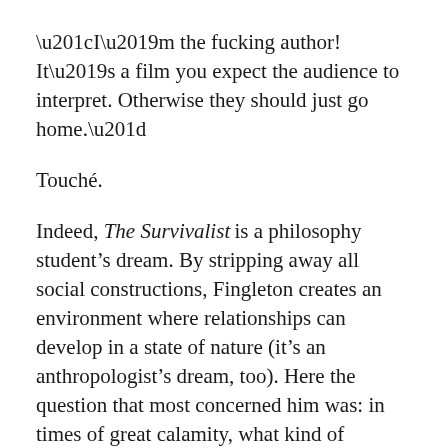“I’m the fucking author! It’s a film you expect the audience to interpret. Otherwise they should just go home.”
Touché.
Indeed, The Survivalist is a philosophy student’s dream. By stripping away all social constructions, Fingleton creates an environment where relationships can develop in a state of nature (it’s an anthropologist’s dream, too). Here the question that most concerned him was: in times of great calamity, what kind of relationships evolve between the sexes?
He uses the fall of Berlin to illustrate his theory. The conquering Soviet forces inflicted massive sexual violence upon the female population; soon